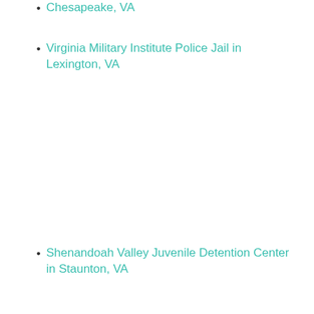Chesapeake, VA
Virginia Military Institute Police Jail in Lexington, VA
Shenandoah Valley Juvenile Detention Center in Staunton, VA